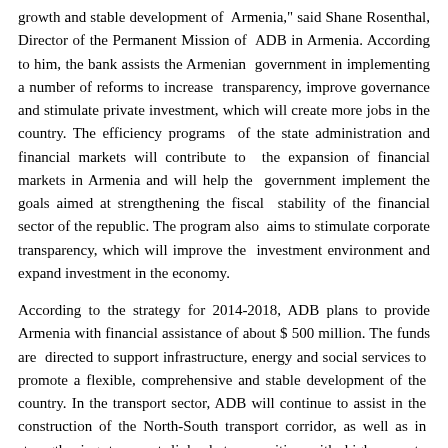growth and stable development of Armenia," said Shane Rosenthal, Director of the Permanent Mission of ADB in Armenia. According to him, the bank assists the Armenian government in implementing a number of reforms to increase transparency, improve governance and stimulate private investment, which will create more jobs in the country. The efficiency programs of the state administration and financial markets will contribute to the expansion of financial markets in Armenia and will help the government implement the goals aimed at strengthening the fiscal stability of the financial sector of the republic. The program also aims to stimulate corporate transparency, which will improve the investment environment and expand investment in the economy.
According to the strategy for 2014-2018, ADB plans to provide Armenia with financial assistance of about $ 500 million. The funds are directed to support infrastructure, energy and social services to promote a flexible, comprehensive and stable development of the country. In the transport sector, ADB will continue to assist in the construction of the North-South transport corridor, as well as in strengthening transport links between cities with high poverty levels. For regional cooperation and integration of the country, ADB will provide support for the development of roads connecting Armenia with neighboring Georgia. In addition, ADB will assist in the sustainable development of cities with a high level of poverty, assisting local governments in developing coordinated plans and providing the investments